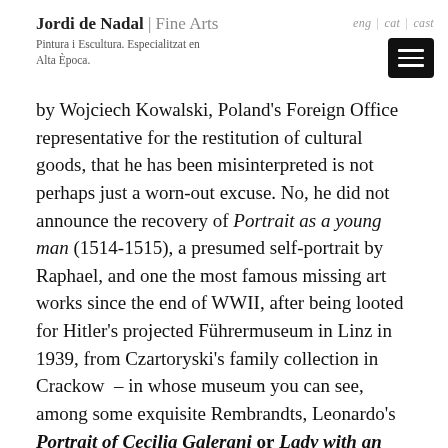Jordi de Nadal | Fine Arts — Pintura i Escultura. Especialitzat en Alta Època.
by Wojciech Kowalski, Poland's Foreign Office representative for the restitution of cultural goods, that he has been misinterpreted is not perhaps just a worn-out excuse. No, he did not announce the recovery of Portrait as a young man (1514-1515), a presumed self-portrait by Raphael, and one the most famous missing art works since the end of WWII, after being looted for Hitler's projected Führermuseum in Linz in 1939, from Czartoryski's family collection in Crackow  – in whose museum you can see, among some exquisite Rembrandts, Leonardo's Portrait of Cecilia Galerani or Lady with an Ermine (oil on panel, 54 x 39 cm, c. 1489 -90). But what